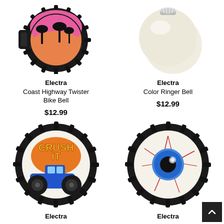[Figure (photo): Electra Coast Highway Twister Bike Bell - black gear-edge bell with pink sunset and palm tree design on top]
Electra
Coast Highway Twister Bike Bell
$12.99
[Figure (photo): Electra Color Ringer Bell - cream/white round bell with silver top knob]
Electra
Color Ringer Bell
$12.99
[Figure (photo): Electra bike bell with Crush It monster truck graphic on white background, black gear edge]
Electra
[Figure (photo): Electra bike bell designed as an eyeball with blue iris, red veins on white, black gear edge]
Electra